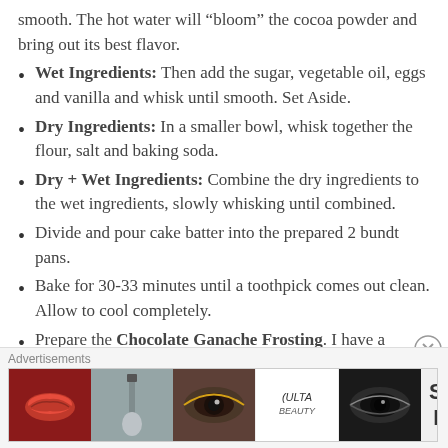smooth. The hot water will “bloom” the cocoa powder and bring out its best flavor.
Wet Ingredients: Then add the sugar, vegetable oil, eggs and vanilla and whisk until smooth. Set Aside.
Dry Ingredients: In a smaller bowl, whisk together the flour, salt and baking soda.
Dry + Wet Ingredients: Combine the dry ingredients to the wet ingredients, slowly whisking until combined.
Divide and pour cake batter into the prepared 2 bundt pans.
Bake for 30-33 minutes until a toothpick comes out clean. Allow to cool completely.
Prepare the Chocolate Ganache Frosting. I have a separate post here.
Remove the cake from the pan then pour chocolate ganache on top and decorate as desired. Top with fresh fruits or whip cream. Makes 2 mini bundt cake
[Figure (photo): Ulta Beauty advertisement banner with beauty product images and SHOP NOW call to action]